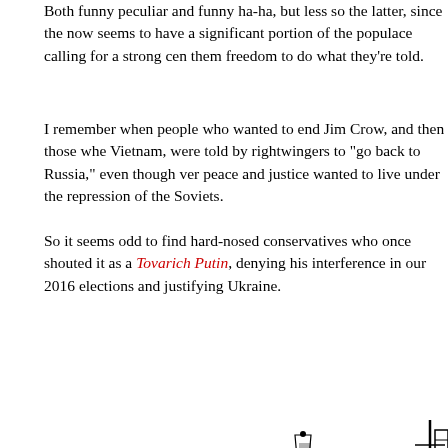Both funny peculiar and funny ha-ha, but less so the latter, since the now seems to have a significant portion of the populace calling for a strong cen them freedom to do what they're told.
I remember when people who wanted to end Jim Crow, and then those whe Vietnam, were told by rightwingers to "go back to Russia," even though ver peace and justice wanted to live under the repression of the Soviets.
So it seems odd to find hard-nosed conservatives who once shouted it as a Tovarich Putin, denying his interference in our 2016 elections and justifying Ukraine.
[Figure (illustration): Black and white illustration showing two men grabbing each other by the collar in a confrontational pose, with a harbor/waterfront scene in the background including a lighthouse, sailboat, and industrial structures.]